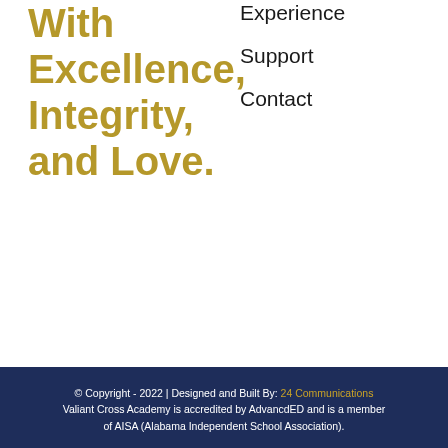With Excellence, Integrity, and Love.
Experience
Support
Contact
© Copyright - 2022 | Designed and Built By: 24 Communications Valiant Cross Academy is accredited by AdvancdED and is a member of AISA (Alabama Independent School Association).